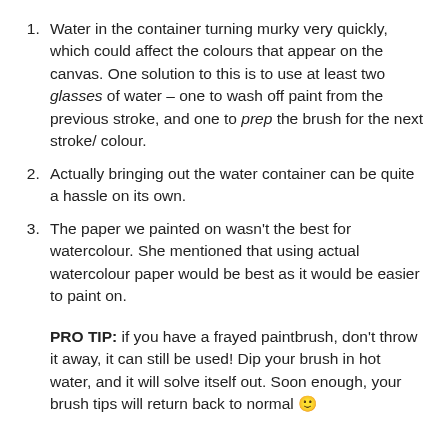Water in the container turning murky very quickly, which could affect the colours that appear on the canvas. One solution to this is to use at least two glasses of water – one to wash off paint from the previous stroke, and one to prep the brush for the next stroke/ colour.
Actually bringing out the water container can be quite a hassle on its own.
The paper we painted on wasn't the best for watercolour. She mentioned that using actual watercolour paper would be best as it would be easier to paint on.
PRO TIP: if you have a frayed paintbrush, don't throw it away, it can still be used! Dip your brush in hot water, and it will solve itself out. Soon enough, your brush tips will return back to normal 🙂